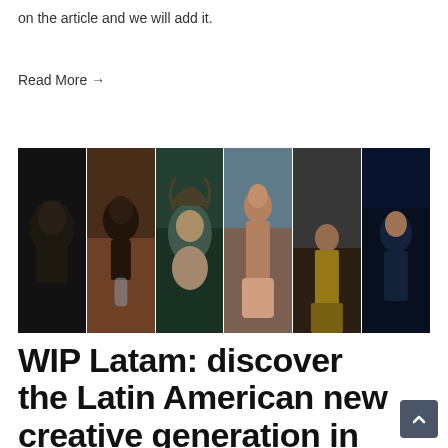on the article and we will add it.
Read More →
[Figure (photo): A collage of six film stills showing various Latin American actors/characters: a dark-skinned man in shadow, a Black woman resting on a table with a glass, a person with wild hair crouched in a teal/green scene, a shirtless man with a mustache, a person in yellow overalls in a dim industrial setting, and a young man in blue-lit darkness.]
WIP Latam: discover the Latin American new creative generation in Sa